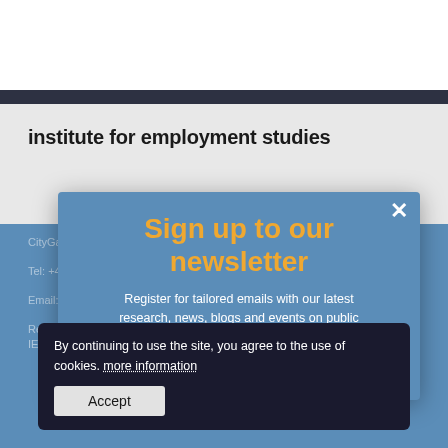[Figure (screenshot): Website screenshot showing Institute for Employment Studies page with newsletter signup modal and cookie consent banner overlaid on a blue contact information background.]
institute for employment studies
CityGate, 185 Dyke Road, Brighton, BN3 1TL
Tel: +44 (0)...
Email: askIES@...
Reg...
Sign up to our newsletter
Register for tailored emails with our latest research, news, blogs and events on public employment policy or human resources topics.
sign up now
By continuing to use the site, you agree to the use of cookies. more information
Accept